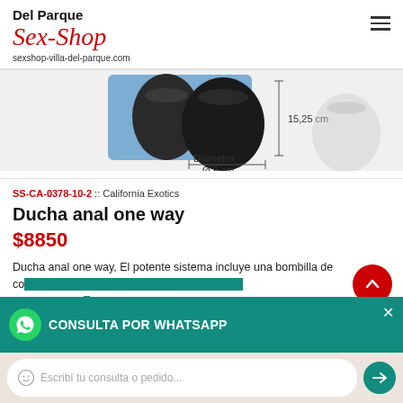Del Parque Sex-Shop
sexshop-villa-del-parque.com
[Figure (photo): Product image showing two black anal douche bulbs with measurement annotations: 15,25 cm height and Diametro: Ø 9 cm]
SS-CA-0378-10-2 :: California Exotics
Ducha anal one way
$8850
Ducha anal one way, El potente sistema incluye una bombilla de compresión EZ grande y una punta aplicadora delgada con un... válvula unidire... superior sin el m... del bombilla de...
[Figure (screenshot): WhatsApp consultation widget overlay with green header showing 'CONSULTA POR WHATSAPP' and an input field saying 'Escribí tu consulta o pedido...']